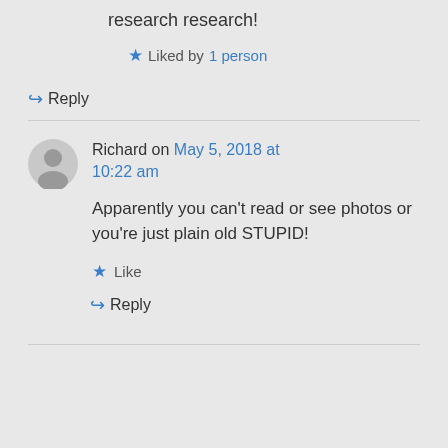research research!
★ Liked by 1 person
↪ Reply
Richard on May 5, 2018 at 10:22 am
Apparently you can't read or see photos or you're just plain old STUPID!
★ Like
↪ Reply